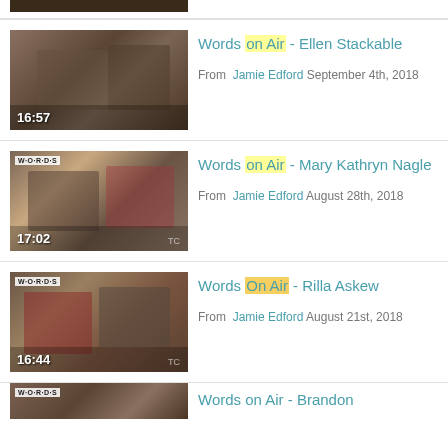[Figure (screenshot): Partial video thumbnail at top, cropped]
Words on Air - Ellen Stackable
From Jamie Edford September 4th, 2018
[Figure (screenshot): Video thumbnail showing two people in conversation, duration 16:57]
Words on Air - Ellen Stackable
From Jamie Edford September 4th, 2018
[Figure (screenshot): Video thumbnail showing two women in conversation, duration 17:02]
Words on Air - Mary Kathryn Nagle
From Jamie Edford August 28th, 2018
[Figure (screenshot): Video thumbnail showing two women in conversation, duration 16:44]
Words On Air - Rilla Askew
From Jamie Edford August 21st, 2018
[Figure (screenshot): Partial video thumbnail at bottom, cropped, Words on Air - Brandon (truncated)]
Words on Air - Brandon